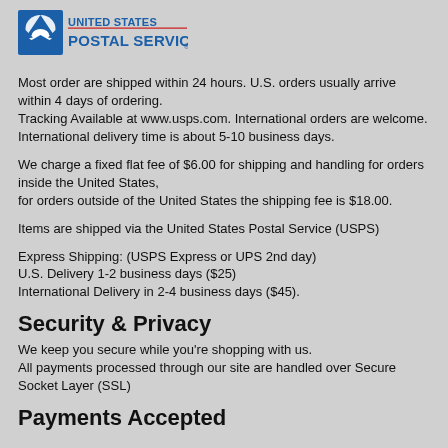[Figure (logo): United States Postal Service (USPS) logo with eagle emblem and blue text]
Most order are shipped within 24 hours. U.S. orders usually arrive within 4 days of ordering. Tracking Available at www.usps.com. International orders are welcome. International delivery time is about 5-10 business days.
We charge a fixed flat fee of $6.00 for shipping and handling for orders inside the United States, for orders outside of the United States the shipping fee is $18.00.
Items are shipped via the United States Postal Service (USPS)
Express Shipping: (USPS Express or UPS 2nd day)
U.S. Delivery 1-2 business days ($25)
International Delivery in 2-4 business days ($45).
Security & Privacy
We keep you secure while you're shopping with us. All payments processed through our site are handled over Secure Socket Layer (SSL)
Payments Accepted